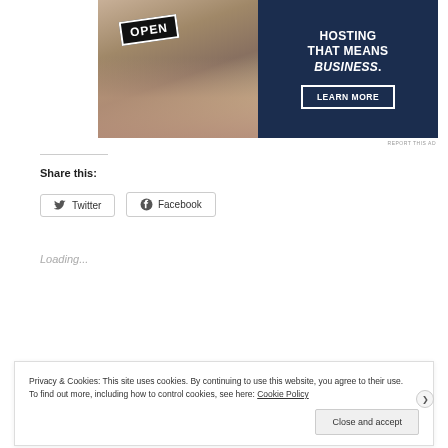[Figure (photo): Advertisement banner: left side shows a hand holding an OPEN sign, right side is dark navy blue with text 'HOSTING THAT MEANS BUSINESS.' and a 'LEARN MORE' button]
REPORT THIS AD
Share this:
Twitter
Facebook
Loading...
Privacy & Cookies: This site uses cookies. By continuing to use this website, you agree to their use.
To find out more, including how to control cookies, see here: Cookie Policy
Close and accept